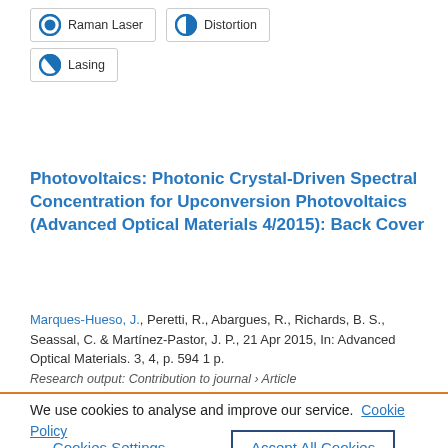Raman Laser
Distortion
Lasing
Photovoltaics: Photonic Crystal-Driven Spectral Concentration for Upconversion Photovoltaics (Advanced Optical Materials 4/2015): Back Cover
Marques-Hueso, J., Peretti, R., Abargues, R., Richards, B. S., Seassal, C. & Martínez-Pastor, J. P., 21 Apr 2015, In: Advanced Optical Materials. 3, 4, p. 594 1 p.
Research output: Contribution to journal › Article
We use cookies to analyse and improve our service. Cookie Policy
Cookies Settings
Accept All Cookies